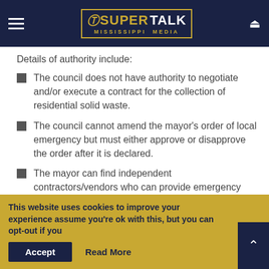SuperTalk Mississippi Media
Details of authority include:
The council does not have authority to negotiate and/or execute a contract for the collection of residential solid waste.
The council cannot amend the mayor's order of local emergency but must either approve or disapprove the order after it is declared.
The mayor can find independent contractors/vendors who can provide emergency services and present contracts to the council for approval.
Only the mayor can negotiate a contract for
This website uses cookies to improve your experience assume you're ok with this, but you can opt-out if you